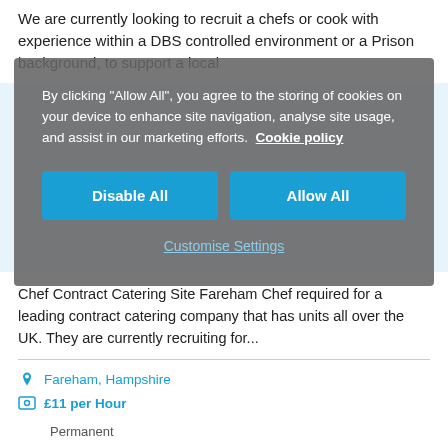We are currently looking to recruit a chefs or cook with experience within a DBS controlled environment or a Prison background, to support a local
By clicking "Allow All", you agree to the storing of cookies on your device to enhance site navigation, analyse site usage, and assist in our marketing efforts. Cookie policy
Disable All
Allow All
Customise Settings
Chef Contract Catering Site Fareham Chef required for a leading contract catering company that has units all over the UK. They are currently recruiting for...
Fareham, Hampshire
£11 per Hour
Permanent
View details
Share Location